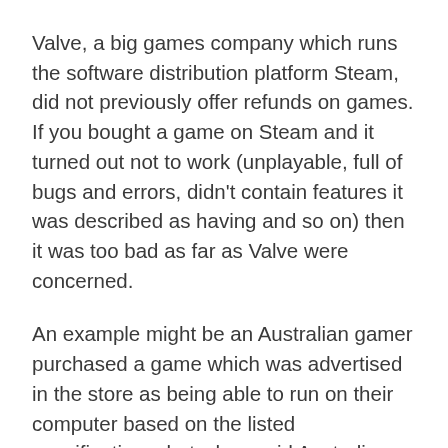Valve, a big games company which runs the software distribution platform Steam, did not previously offer refunds on games. If you bought a game on Steam and it turned out not to work (unplayable, full of bugs and errors, didn't contain features it was described as having and so on) then it was too bad as far as Valve were concerned.
An example might be an Australian gamer purchased a game which was advertised in the store as being able to run on their computer based on the listed specifications, but when said Australian gamer purchased and installed the game, it was unplayable – slow, jerky, looked terrible, that sort of thing.